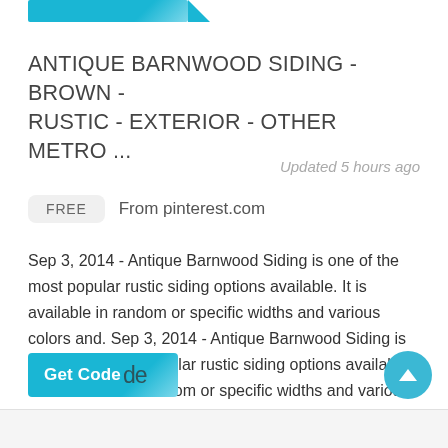[Figure (other): Teal/blue decorative banner strip at top of card]
ANTIQUE BARNWOOD SIDING - BROWN - RUSTIC - EXTERIOR - OTHER METRO ...
Updated 5 hours ago
FREE   From pinterest.com
Sep 3, 2014 - Antique Barnwood Siding is one of the most popular rustic siding options available. It is available in random or specific widths and various colors and. Sep 3, 2014 - Antique Barnwood Siding is one of the most popular rustic siding options available. It is available in random or specific widths and various colors and . Pinterest. Today. Explore. When … …
[Figure (other): Teal Get Code button with overlapping 'de' text]